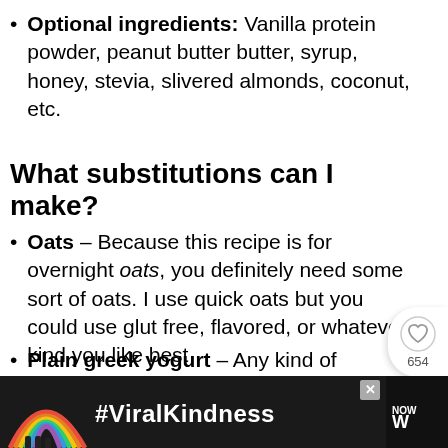Optional ingredients: Vanilla protein powder, peanut butter butter, syrup, honey, stevia, slivered almonds, coconut, etc.
What substitutions can I make?
Oats – Because this recipe is for overnight oats, you definitely need some sort of oats. I use quick oats but you could use glut free, flavored, or whatever kind you like best
Chia seeds – This is an optional ingredient and the recipe will still turn out great if don't add these seeds.
Plain greek yogurt – Any kind of yogurt will
[Figure (infographic): Advertisement bar at bottom with rainbow, #ViralKindness text, and media logo]